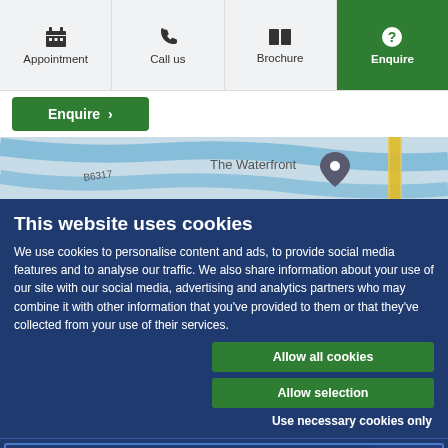Appointment | Call us | Brochure | Enquire
Enquire >
[Figure (map): Street map showing The Waterfront location with road B6317]
This website uses cookies
We use cookies to personalise content and ads, to provide social media features and to analyse our traffic. We also share information about your use of our site with our social media, advertising and analytics partners who may combine it with other information that you've provided to them or that they've collected from your use of their services.
Allow all cookies
Allow selection
Use necessary cookies only
Necessary | Preferences | Statistics | Marketing | Show details